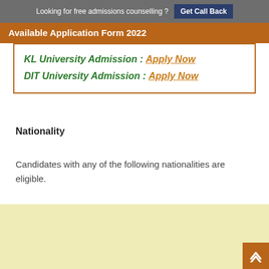Looking for free admissions counselling ? Get Call Back
Available Application Form 2022
KL University Admission : Apply Now
DIT University Admission : Apply Now
Nationality
Candidates with any of the following nationalities are eligible.